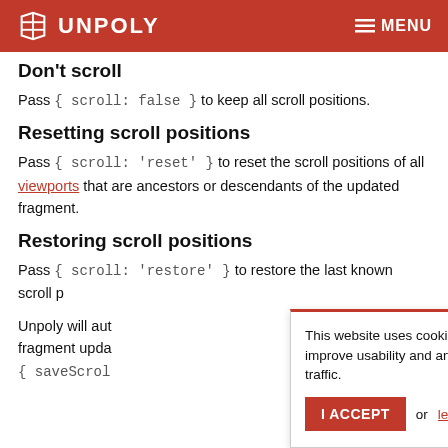UNPOLY  ≡ MENU
Don't scroll
Pass { scroll: false } to keep all scroll positions.
Resetting scroll positions
Pass { scroll: 'reset' } to reset the scroll positions of all viewports that are ancestors or descendants of the updated fragment.
Restoring scroll positions
Pass { scroll: 'restore' } to restore the last known scroll p…
Unpoly will aut… fragment upda… { saveScrol…
This website uses cookies to improve usability and analyze traffic. I ACCEPT or learn more